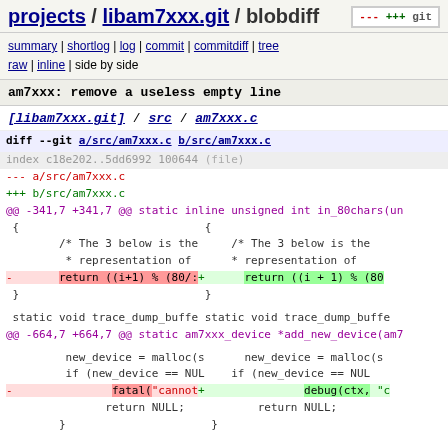projects / libam7xxx.git / blobdiff
summary | shortlog | log | commit | commitdiff | tree
raw | inline | side by side
am7xxx: remove a useless empty line
[libam7xxx.git] / src / am7xxx.c
[Figure (screenshot): Git diff view showing side-by-side diff of a/src/am7xxx.c and b/src/am7xxx.c with removed and added lines highlighted]
diff --git a/src/am7xxx.c b/src/am7xxx.c
index c18e202..5dd6992 100644 (file)
--- a/src/am7xxx.c
+++ b/src/am7xxx.c
@@ -341,7 +341,7 @@ static inline unsigned int in_80chars(un
 {
         /* The 3 below is the
          * representation of
-        return ((i+1) % (80/: +        return ((i + 1) % (80
 }

static void trace_dump_buffe  static void trace_dump_buffe
@@ -664,7 +664,7 @@ static am7xxx_device *add_new_device(am7

          new_device = malloc(s        new_device = malloc(s
          if (new_device == NUL   if (new_device == NUL
-                fatal("cannot+                debug(ctx, "c
                return NULL;        return NULL;
         }                         }